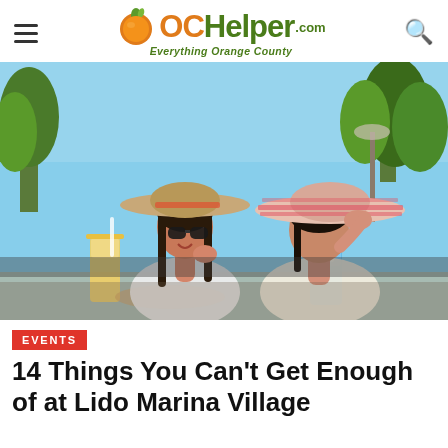OCHelper.com — Everything Orange County
[Figure (photo): Two women wearing wide-brimmed sun hats sitting outdoors at a table with tropical drinks, one wearing sunglasses, both smiling and chatting in a sunny outdoor setting with trees and blue sky in the background]
EVENTS
14 Things You Can't Get Enough of at Lido Marina Village